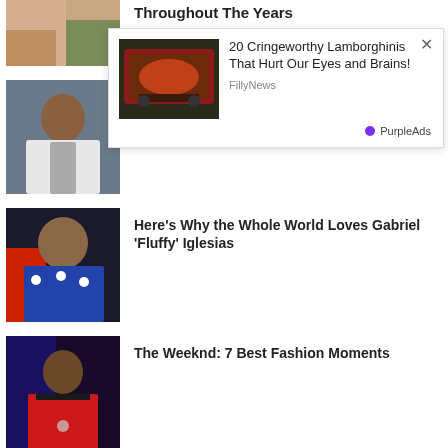Throughout The Years
[Figure (photo): Partial thumbnail image at top left]
[Figure (infographic): Ad overlay: 20 Cringeworthy Lamborghinis That Hurt Our Eyes and Brains! - FillyNews - PurpleAds]
Nick Cannon's Hottest Fashion Moments
[Figure (photo): Nick Cannon in white suit]
Here's Why the Whole World Loves Gabriel 'Fluffy' Iglesias
[Figure (photo): Gabriel Iglesias performing in star-spangled shirt]
The Weeknd: 7 Best Fashion Moments
[Figure (photo): The Weeknd performing in red jacket]